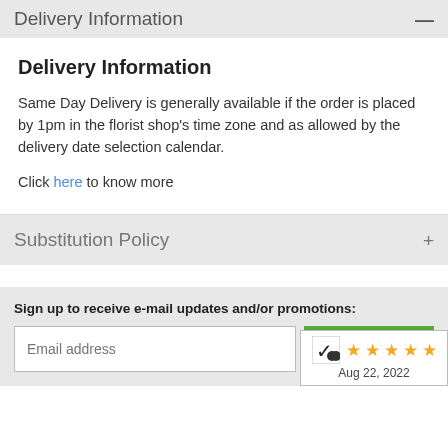Delivery Information
Delivery Information
Same Day Delivery is generally available if the order is placed by 1pm in the florist shop's time zone and as allowed by the delivery date selection calendar.
Click here to know more
Substitution Policy
Sign up to receive e-mail updates and/or promotions:
[Figure (other): Email signup form with text input labeled 'Email address' and a green SUBMIT button]
[Figure (other): Rating badge showing 5 stars and date Aug 22, 2022 with a Y logo]